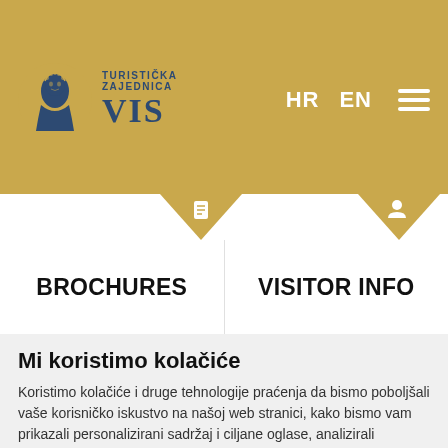[Figure (logo): Turistička Zajednica VIS logo with classical bust illustration and gold background header showing HR EN navigation and hamburger menu]
BROCHURES
VISITOR INFO
Mi koristimo kolačiće
Koristimo kolačiće i druge tehnologije praćenja da bismo poboljšali vaše korisničko iskustvo na našoj web stranici, kako bismo vam prikazali personalizirani sadržaj i ciljane oglase, analizirali